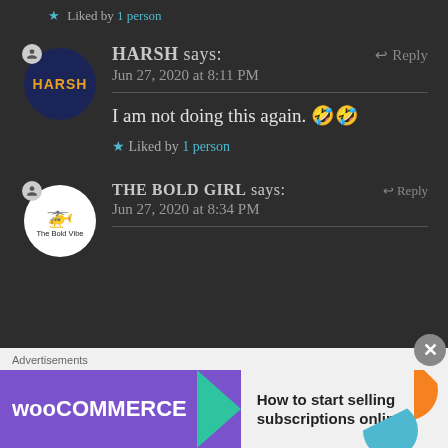★ Liked by 1 person
HARSH says: Jun 27, 2020 at 8:11 PM ↩ Reply
I am not doing this again. 🤣🤣
★ Liked by 1 person
THE BOLD GIRL says: Jun 27, 2020 at 8:34 PM Reply
[Figure (screenshot): WooCommerce advertisement banner: 'How to start selling subscriptions online']